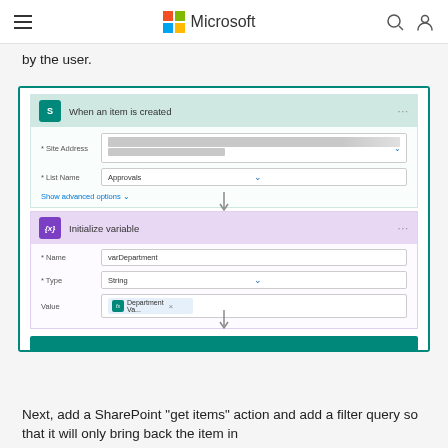Microsoft
by the user.
[Figure (screenshot): Microsoft Power Automate flow screenshot showing two steps: 'When an item is created' trigger with Site Address and List Name (Approvals) fields, followed by 'Initialize variable' action with Name=varDepartment, Type=String, Value=Department Va... The steps are connected by arrows pointing downward. A third step is partially visible at the bottom.]
Next, add a SharePoint "get items" action and add a filter query so that it will only bring back the item in